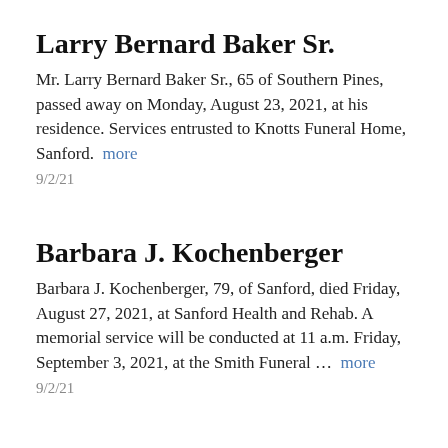Larry Bernard Baker Sr.
Mr. Larry Bernard Baker Sr., 65 of Southern Pines, passed away on Monday, August 23, 2021, at his residence. Services entrusted to Knotts Funeral Home, Sanford. more
9/2/21
Barbara J. Kochenberger
Barbara J. Kochenberger, 79, of Sanford, died Friday, August 27, 2021, at Sanford Health and Rehab. A memorial service will be conducted at 11 a.m. Friday, September 3, 2021, at the Smith Funeral … more
9/2/21